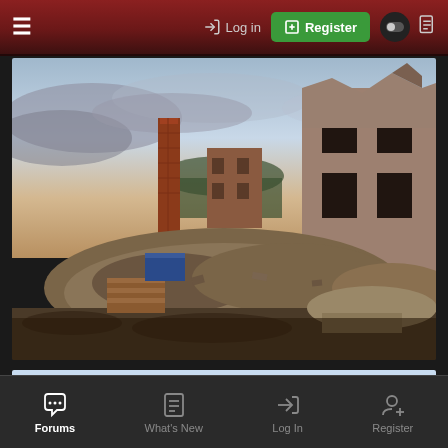Log in | Register
[Figure (photo): Demolition site showing ruins of old brick buildings with rubble piles, a red brick chimney tower in the background, and partially destroyed walls under a cloudy sky at dusk.]
[Figure (other): Light blue rectangular panel below the photo]
Forums | What's New | Log In | Register